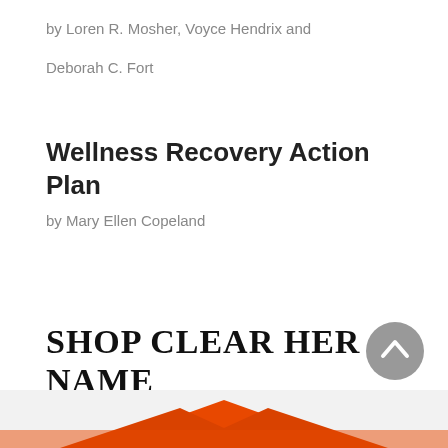by Loren R. Mosher, Voyce Hendrix and
Deborah C. Fort
Wellness Recovery Action Plan
by Mary Ellen Copeland
SHOP CLEAR HER NAME
[Figure (photo): Partial view of orange clothing item at the bottom of the page, with a gray scroll-to-top button overlay in the lower right]